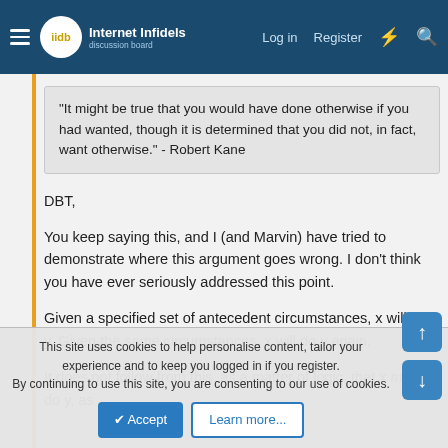Internet Infidels — Log in  Register
“It might be true that you would have done otherwise if you had wanted, though it is determined that you did not, in fact, want otherwise.” - Robert Kane
DBT,
You keep saying this, and I (and Marvin) have tried to demonstrate where this argument goes wrong. I don’t think you have ever seriously addressed this point.
Given a specified set of antecedent circumstances, x will do y. Given the same circumstances, x will do y again.
It does not follow from this, as a matter of logic, that x must do y, as
This site uses cookies to help personalise content, tailor your experience and to keep you logged in if you register.
By continuing to use this site, you are consenting to our use of cookies.